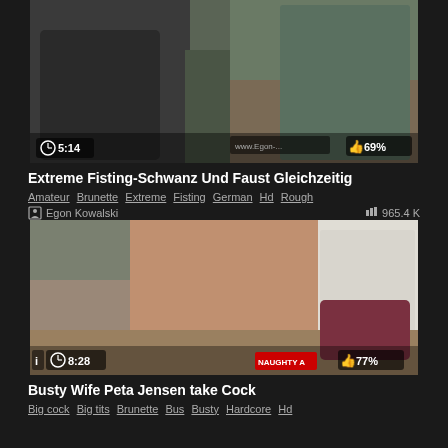[Figure (screenshot): Video thumbnail 1: two people on a dark couch, explicit content]
Extreme Fisting-Schwanz Und Faust Gleichzeitig
Amateur  Brunette  Extreme  Fisting  German  Hd  Rough
Egon Kowalski   965.4 K
[Figure (screenshot): Video thumbnail 2: woman on couch, explicit content, Naughty America branding]
Busty Wife Peta Jensen take Cock
Big cock  Big tits  Brunette  Bus  Busty  Hardcore  Hd